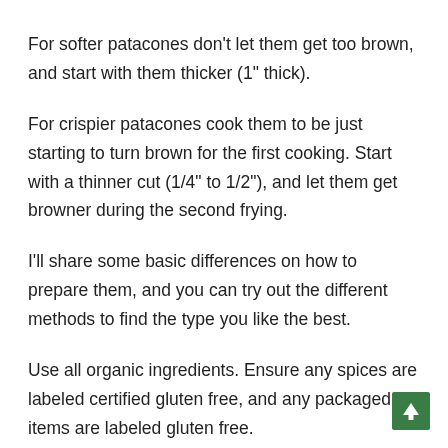For softer patacones don't let them get too brown, and start with them thicker (1" thick).
For crispier patacones cook them to be just starting to turn brown for the first cooking. Start with a thinner cut (1/4" to 1/2"), and let them get browner during the second frying.
I'll share some basic differences on how to prepare them, and you can try out the different methods to find the type you like the best.
Use all organic ingredients. Ensure any spices are labeled certified gluten free, and any packaged items are labeled gluten free.